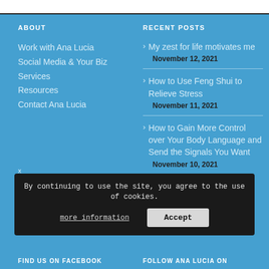ABOUT
Work with Ana Lucia
Social Media & Your Biz
Services
Resources
Contact Ana Lucia
RECENT POSTS
My zest for life motivates me
November 12, 2021
How to Use Feng Shui to Relieve Stress
November 11, 2021
How to Gain More Control over Your Body Language and Send the Signals You Want
November 10, 2021
By continuing to use the site, you agree to the use of cookies.
more information
Accept
FIND US ON FACEBOOK
FOLLOW ANA LUCIA ON